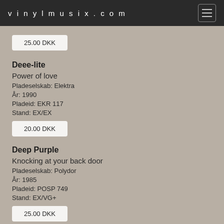vinylmusix.com
25.00 DKK
Deee-lite
Power of love
Pladeselskab: Elektra
År: 1990
Pladeid: EKR 117
Stand: EX/EX
20.00 DKK
Deep Purple
Knocking at your back door
Pladeselskab: Polydor
År: 1985
Pladeid: POSP 749
Stand: EX/VG+
25.00 DKK